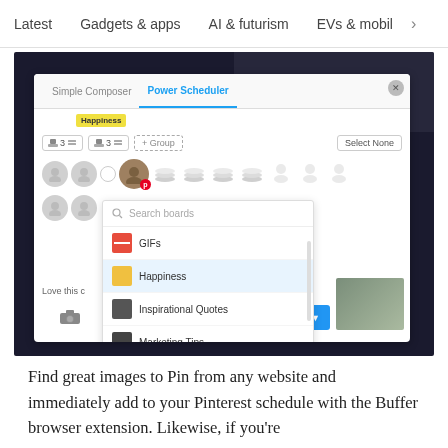Latest   Gadgets & apps   AI & futurism   EVs & mobil  >
[Figure (screenshot): Screenshot of Buffer Power Scheduler UI showing board selection dropdown with boards: GIFs, Happiness (selected/highlighted), Inspirational Quotes, Marketing Tips. Interface shows multiple social account avatars, Select None button, and Add to Queue blue button.]
Find great images to Pin from any website and immediately add to your Pinterest schedule with the Buffer browser extension. Likewise, if you're